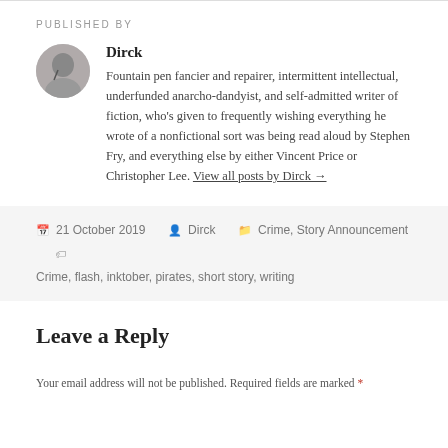PUBLISHED BY
Dirck
Fountain pen fancier and repairer, intermittent intellectual, underfunded anarcho-dandyist, and self-admitted writer of fiction, who's given to frequently wishing everything he wrote of a nonfictional sort was being read aloud by Stephen Fry, and everything else by either Vincent Price or Christopher Lee. View all posts by Dirck →
21 October 2019   Dirck   Crime, Story Announcement   Crime, flash, inktober, pirates, short story, writing
Leave a Reply
Your email address will not be published. Required fields are marked *